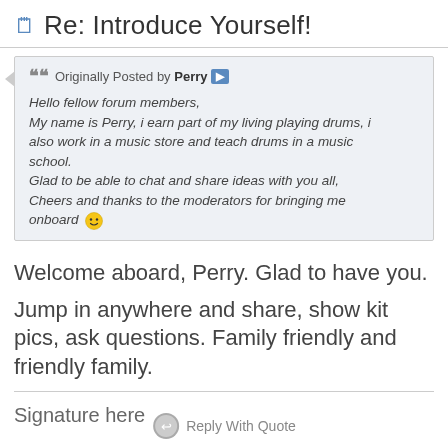Re: Introduce Yourself!
Originally Posted by Perry
Hello fellow forum members,
My name is Perry, i earn part of my living playing drums, i also work in a music store and teach drums in a music school.
Glad to be able to chat and share ideas with you all,
Cheers and thanks to the moderators for bringing me onboard 🙂
Welcome aboard, Perry. Glad to have you.
Jump in anywhere and share, show kit pics, ask questions. Family friendly and friendly family.
Signature here
Reply With Quote